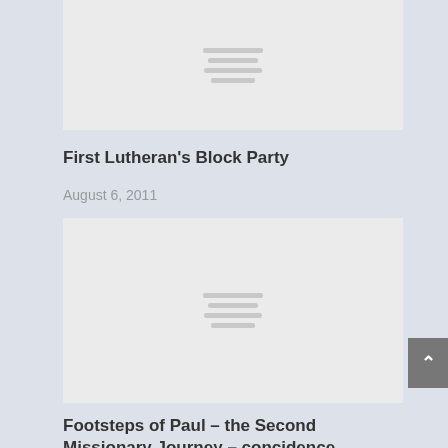[Figure (photo): Placeholder image with loading lines indicator at top of page]
First Lutheran's Block Party
August 6, 2011
[Figure (photo): Placeholder image with loading lines indicator for second article]
Footsteps of Paul – the Second Missionary Journey – concidence